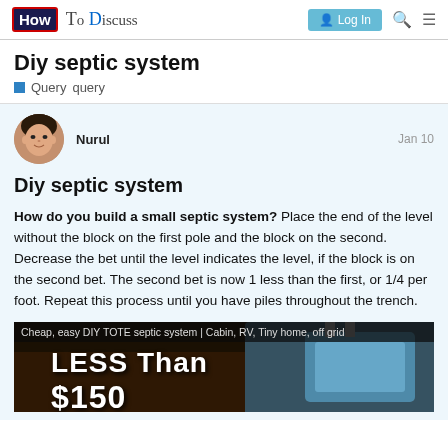How To Discuss — Log In
Diy septic system
Query  query
Nurul   Jan 10
Diy septic system
How do you build a small septic system? Place the end of the level without the block on the first pole and the block on the second. Decrease the bet until the level indicates the level, if the block is on the second bet. The second bet is now 1 less than the first, or 1/4 per foot. Repeat this process until you have piles throughout the trench.
[Figure (screenshot): Video thumbnail showing text 'Cheap, easy DIY TOTE septic system | Cabin, RV, Tiny home, off grid' with large text 'LESS than $150' overlaid on a dark background.]